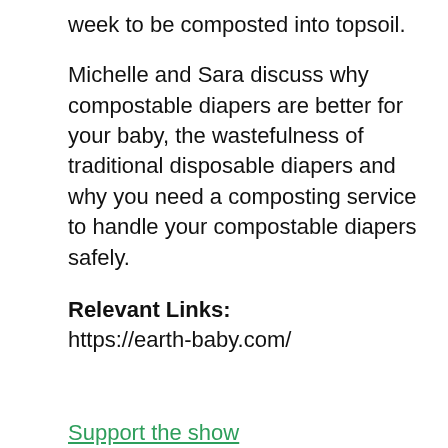week to be composted into topsoil.
Michelle and Sara discuss why compostable diapers are better for your baby, the wastefulness of traditional disposable diapers and why you need a composting service to handle your compostable diapers safely.
Relevant Links:
https://earth-baby.com/
Support the show